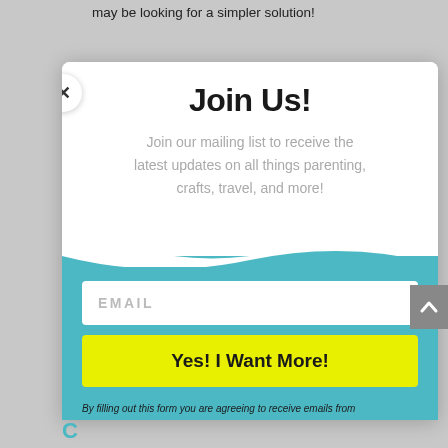may be looking for a simpler solution!
Join Us!
Join our mailing list to receive the latest updates on all things parenting, crafts, travel, and more!
EMAIL
Yes! I Want More!
By filling out this form you are agreeing to receive emails from J Helgren Media LLC (The Mommy Bunch, Rock Your Craft). Spam Free. Unsubscribe at any time.